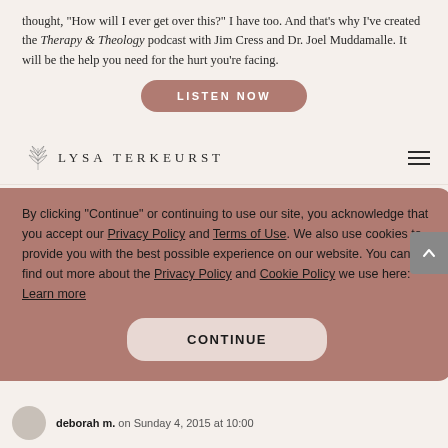thought, “How will I ever get over this?” I have too. And that’s why I’ve created the Therapy & Theology podcast with Jim Cress and Dr. Joel Muddamalle. It will be the help you need for the hurt you’re facing.
[Figure (screenshot): LISTEN NOW button in mauve/rose color with rounded corners]
[Figure (logo): Lysa TerKeurst logo with botanical leaf illustration above the text]
By clicking "Continue" or continuing to use our site, you acknowledge that you accept our Privacy Policy and Terms of Use. We also use cookies to provide you with the best possible experience on our website. You can find out more about the Privacy Policy and Cookie Policy we use here: Learn more
[Figure (screenshot): CONTINUE button in light pink/rose color with rounded corners]
deborah m. on Sunday 4, 2015 at 10:00